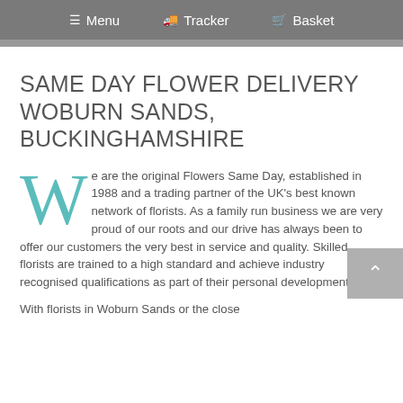Menu   Tracker   Basket
SAME DAY FLOWER DELIVERY WOBURN SANDS, BUCKINGHAMSHIRE
We are the original Flowers Same Day, established in 1988 and a trading partner of the UK's best known network of florists. As a family run business we are very proud of our roots and our drive has always been to offer our customers the very best in service and quality. Skilled florists are trained to a high standard and achieve industry recognised qualifications as part of their personal development.
With florists in Woburn Sands or the close